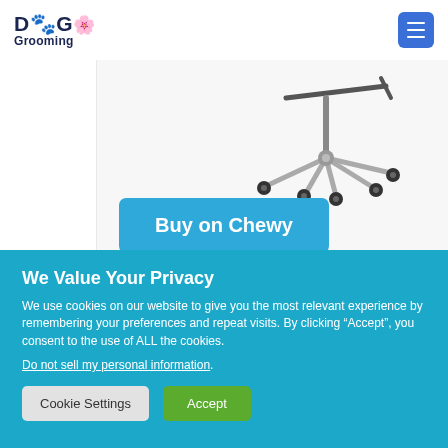Dog Grooming — site header with logo and menu button
[Figure (photo): Partial photo of a grooming table or stand with wheels/casters, metallic frame, visible against a light background]
Buy on Chewy
We Value Your Privacy
We use cookies on our website to give you the most relevant experience by remembering your preferences and repeat visits. By clicking “Accept”, you consent to the use of ALL the cookies.
Do not sell my personal information.
Cookie Settings   Accept